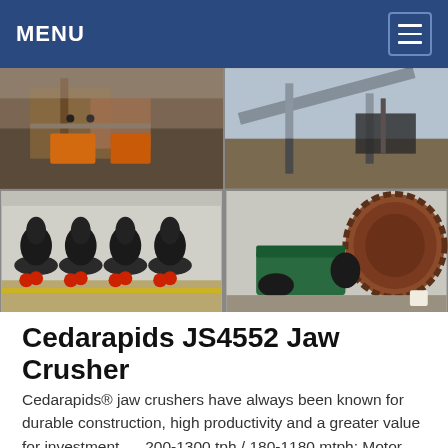MENU
[Figure (photo): Four-panel photo grid showing industrial crushing and mining equipment: top-left shows a crushing plant facility with orange machinery and workers on platforms; top-right shows a large conveyor belt system at a mining site; bottom-left shows a row of cone crushers on red wheels in a warehouse; bottom-right shows a large rotating drum/mill with green motor drive equipment.]
Cedarapids JS4552 Jaw Crusher
Cedarapids® jaw crushers have always been known for durable construction, high productivity and a greater value for investment. ... 200-1300 tph / 180-1180 mtph: Motor Size: 300 hp